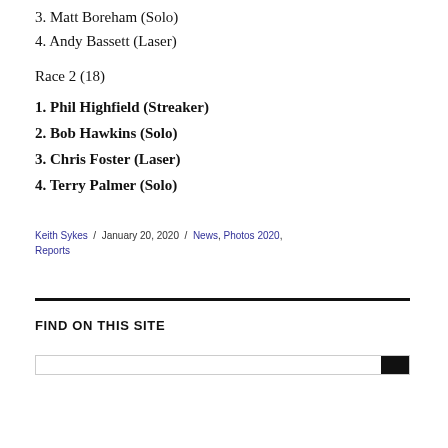3. Matt Boreham (Solo)
4. Andy Bassett (Laser)
Race 2 (18)
1. Phil Highfield (Streaker)
2. Bob Hawkins (Solo)
3. Chris Foster (Laser)
4. Terry Palmer (Solo)
Keith Sykes / January 20, 2020 / News, Photos 2020, Reports
FIND ON THIS SITE